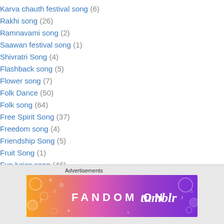Karva chauth festival song (6)
Rakhi song (26)
Ramnavami song (2)
Saawan festival song (1)
Shivratri Song (4)
Flashback song (5)
Flower song (7)
Folk Dance (50)
Folk song (64)
Free Spirit Song (37)
Freedom song (4)
Friendship Song (5)
Fruit Song (1)
Fun lyrics song (46)
fun timepass song (222)
Funeral Song (1)
Advertisements
[Figure (illustration): Fandom on Tumblr advertisement banner with colorful gradient background (orange to purple) and white text/icons]